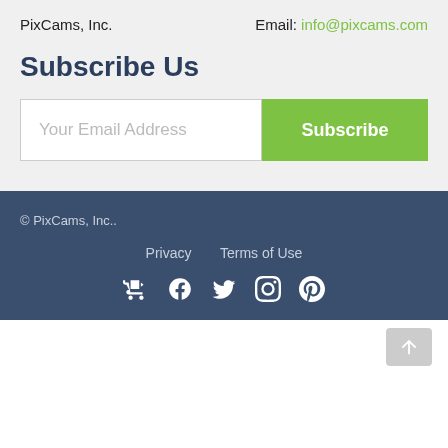PixCams, Inc.    Email: info@pixcams.com
Subscribe Us
Your Email Address  [Subscribe button]
© PixCams, Inc.   Privacy   Terms of Use
[Figure (other): Social media icons: shopping cart/video, Facebook, Twitter, Instagram, Pinterest]
[Figure (other): Back to top arrow button in bottom right corner]